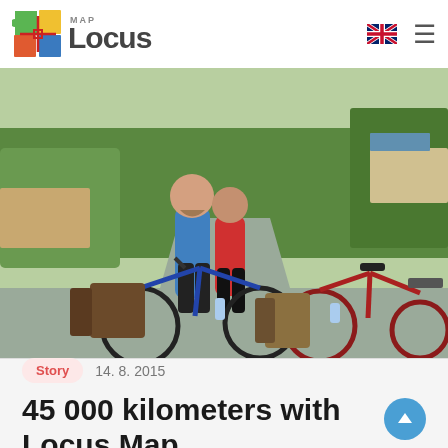Locus Map
[Figure (photo): Two cyclists, a bearded man in blue jersey and a woman in red jersey, standing with two fully loaded touring bicycles on a road in a green park-like setting. Multiple panniers visible on the bikes.]
Story   14. 8. 2015
45 000 kilometers with Locus Map